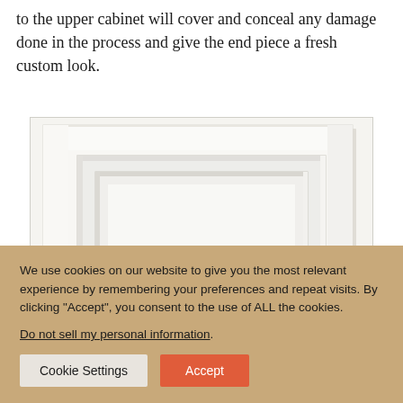to the upper cabinet will cover and conceal any damage done in the process and give the end piece a fresh custom look.
[Figure (photo): A white painted raised-panel cabinet door photographed against a white background, showing the classic rectangular frame and center panel construction.]
We use cookies on our website to give you the most relevant experience by remembering your preferences and repeat visits. By clicking “Accept”, you consent to the use of ALL the cookies. Do not sell my personal information.